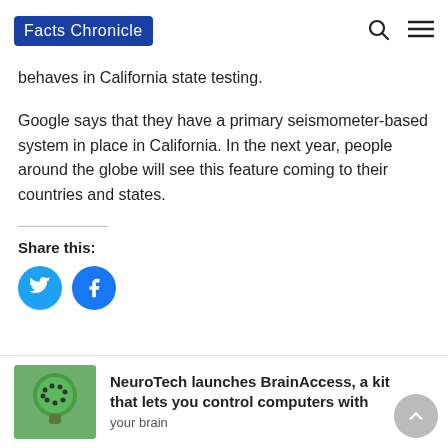Facts Chronicle
behaves in California state testing.
Google says that they have a primary seismometer-based system in place in California. In the next year, people around the globe will see this feature coming to their countries and states.
Share this:
[Figure (other): Twitter and Facebook share buttons (circular icons in blue)]
NeuroTech launches BrainAccess, a kit that lets you control computers with your brain